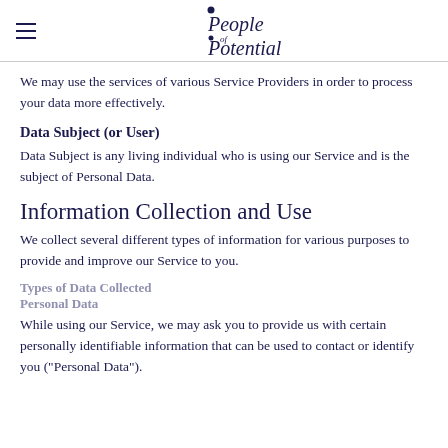People of Potential
We may use the services of various Service Providers in order to process your data more effectively.
Data Subject (or User)
Data Subject is any living individual who is using our Service and is the subject of Personal Data.
Information Collection and Use
We collect several different types of information for various purposes to provide and improve our Service to you.
Types of Data Collected
Personal Data
While using our Service, we may ask you to provide us with certain personally identifiable information that can be used to contact or identify you ("Personal Data").